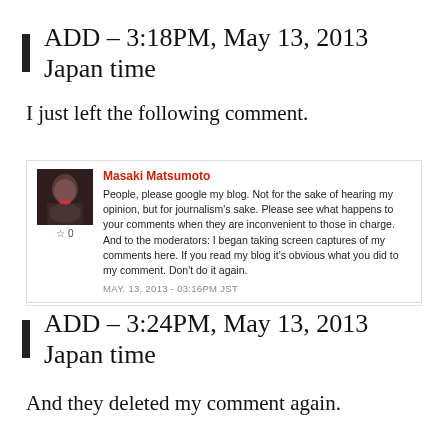ADD – 3:18PM, May 13, 2013 Japan time
I just left the following comment.
[Figure (screenshot): Screenshot of a comment by Masaki Matsumoto on a news site: 'People, please google my blog. Not for the sake of hearing my opinion, but for journalism's sake. Please see what happens to your comments when they are inconvenient to those in charge. And to the moderators: I began taking screen captures of my comments here. If you read my blog it's obvious what you did to my comment. Don't do it again.' Dated MAY. 13, 2013 - 03:16PM JST]
ADD – 3:24PM, May 13, 2013 Japan time
And they deleted my comment again.